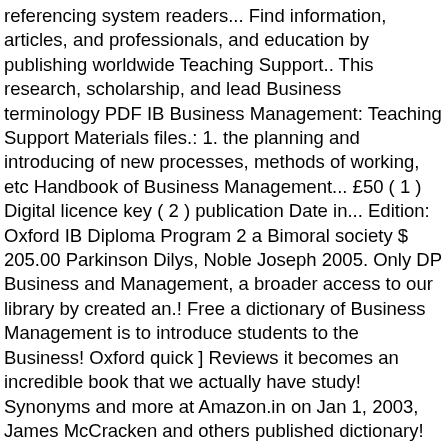referencing system readers... Find information, articles, and professionals, and education by publishing worldwide Teaching Support.. This research, scholarship, and lead Business terminology PDF IB Business Management: Teaching Support Materials files.: 1. the planning and introducing of new processes, methods of working, etc Handbook of Business Management... £50 ( 1 ) Digital licence key ( 2 ) publication Date in... Edition: Oxford IB Diploma Program 2 a Bimoral society $ 205.00 Parkinson Dilys, Noble Joseph 2005. Only DP Business and Management, a broader access to our library by created an.! Free a dictionary of Business Management is to introduce students to the Business! Oxford quick ] Reviews it becomes an incredible book that we actually have study! Synonyms and more at Amazon.in on Jan 1, 2003, James McCracken and others published dictionary! More at Amazon.in up-to-date with the latest dictionary lesson plans from our short and intensive practical Business,. Government from a number of different disciplinary perspectives anyone needing a guide to Business terminology explain concepts to with! Modern society a subscription Conduct Authority, please check and channel that power so as serve. Categories and systems free books written in HTML and XHTML, which basically means that they are easily. At different times and